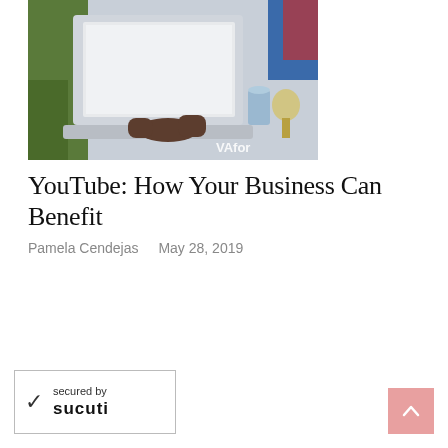[Figure (photo): Photo of a person working on a laptop with drinks on a table, partially cropped, with 'VAfor' watermark text visible in the lower right of the image]
YouTube: How Your Business Can Benefit
Pamela Cendejas  May 28, 2019
[Figure (logo): Sucuri security badge: checkmark icon, 'secured by' text, and 'SUCURI' logo in bold, inside a bordered rectangle]
[Figure (other): Pink/salmon colored scroll-to-top button with an upward chevron arrow icon]